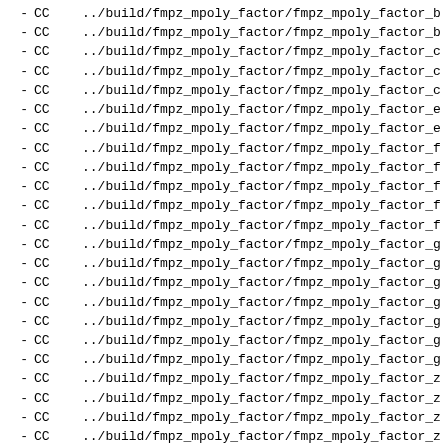- CC ../build/fmpz_mpoly_factor/fmpz_mpoly_factor_b
- CC ../build/fmpz_mpoly_factor/fmpz_mpoly_factor_b
- CC ../build/fmpz_mpoly_factor/fmpz_mpoly_factor_c
- CC ../build/fmpz_mpoly_factor/fmpz_mpoly_factor_c
- CC ../build/fmpz_mpoly_factor/fmpz_mpoly_factor_c
- CC ../build/fmpz_mpoly_factor/fmpz_mpoly_factor_e
- CC ../build/fmpz_mpoly_factor/fmpz_mpoly_factor_e
- CC ../build/fmpz_mpoly_factor/fmpz_mpoly_factor_f
- CC ../build/fmpz_mpoly_factor/fmpz_mpoly_factor_f
- CC ../build/fmpz_mpoly_factor/fmpz_mpoly_factor_f
- CC ../build/fmpz_mpoly_factor/fmpz_mpoly_factor_f
- CC ../build/fmpz_mpoly_factor/fmpz_mpoly_factor_f
- CC ../build/fmpz_mpoly_factor/fmpz_mpoly_factor_g
- CC ../build/fmpz_mpoly_factor/fmpz_mpoly_factor_g
- CC ../build/fmpz_mpoly_factor/fmpz_mpoly_factor_g
- CC ../build/fmpz_mpoly_factor/fmpz_mpoly_factor_g
- CC ../build/fmpz_mpoly_factor/fmpz_mpoly_factor_g
- CC ../build/fmpz_mpoly_factor/fmpz_mpoly_factor_g
- CC ../build/fmpz_mpoly_factor/fmpz_mpoly_factor_g
- CC ../build/fmpz_mpoly_factor/fmpz_mpoly_factor_z
- CC ../build/fmpz_mpoly_factor/fmpz_mpoly_factor_z
- CC ../build/fmpz_mpoly_factor/fmpz_mpoly_factor_z
- CC ../build/fmpz_mpoly_factor/fmpz_mpoly_factor_z
- CC ../build/fmpz_mpoly_factor/fmpz_mpoly_factor_z
- CC ../build/fmpz_mpoly_factor/fmpz_mpoly_factor_z
- CC ../build/fmpz_mpoly_factor/fmpz_mpoly_factor_z
- CC ../build/fmpz_mpoly_factor/fmpz_mpoly_factor_z
- CC ../build/fmpz_mpoly_factor/fmpz_mpoly_factor_n
- CC ../build/fmpz_mpoly_factor/fmpz_mpoly_factor_n
- CC ../build/fmpz_mpoly_factor/fmpz_mpoly_factor_